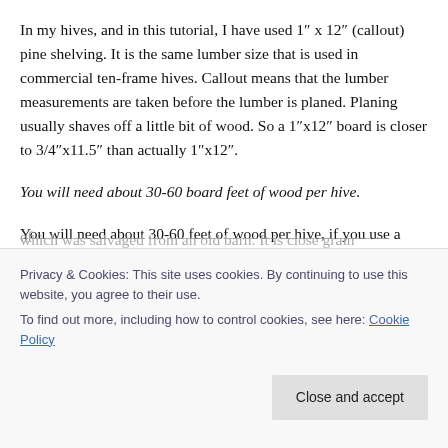In my hives, and in this tutorial, I have used 1″ x 12″ (callout) pine shelving. It is the same lumber size that is used in commercial ten-frame hives. Callout means that the lumber measurements are taken before the lumber is planed. Planing usually shaves off a little bit of wood. So a 1″x12″ board is closer to 3/4″x11.5″ than actually 1″x12″.
You will need about 30-60 board feet of wood per hive.
You will need about 30-60 feet of wood per hive, if you use a standard width of about 12 inches. To give you an idea of…
which was salvaged from an old barn. It is close grain
Privacy & Cookies: This site uses cookies. By continuing to use this website, you agree to their use.
To find out more, including how to control cookies, see here: Cookie Policy